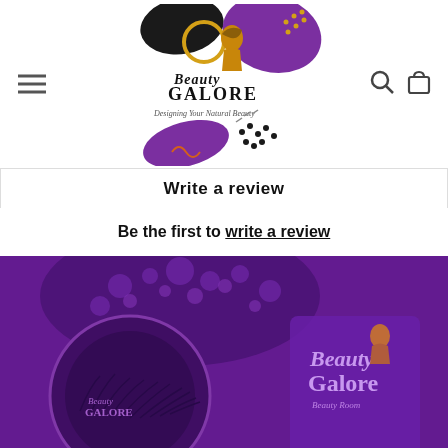[Figure (logo): Beauty Galore logo with black and purple abstract shapes, gold circles, a woman silhouette, and script/serif text reading 'Beauty Galore - Designing Your Natural Beauty']
Write a review
Be the first to write a review
[Figure (photo): Purple-tinted photo of Beauty Galore branded eyelash product packaging and false eyelashes on purple glitter background]